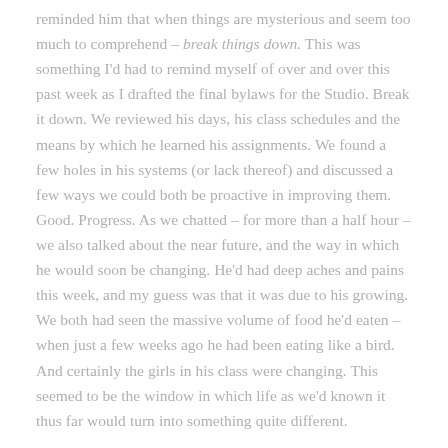reminded him that when things are mysterious and seem too much to comprehend – break things down. This was something I'd had to remind myself of over and over this past week as I drafted the final bylaws for the Studio. Break it down. We reviewed his days, his class schedules and the means by which he learned his assignments. We found a few holes in his systems (or lack thereof) and discussed a few ways we could both be proactive in improving them. Good. Progress. As we chatted – for more than a half hour – we also talked about the near future, and the way in which he would soon be changing. He'd had deep aches and pains this week, and my guess was that it was due to his growing. We both had seen the massive volume of food he'd eaten – when just a few weeks ago he had been eating like a bird. And certainly the girls in his class were changing. This seemed to be the window in which life as we'd known it thus far would turn into something quite different.